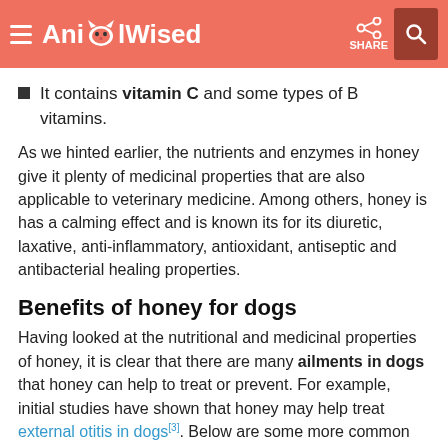AnimalWised
It contains vitamin C and some types of B vitamins.
As we hinted earlier, the nutrients and enzymes in honey give it plenty of medicinal properties that are also applicable to veterinary medicine. Among others, honey is has a calming effect and is known its for its diuretic, laxative, anti-inflammatory, antioxidant, antiseptic and antibacterial healing properties.
Benefits of honey for dogs
Having looked at the nutritional and medicinal properties of honey, it is clear that there are many ailments in dogs that honey can help to treat or prevent. For example, initial studies have shown that honey may help treat external otitis in dogs[3]. Below are some more common ailments